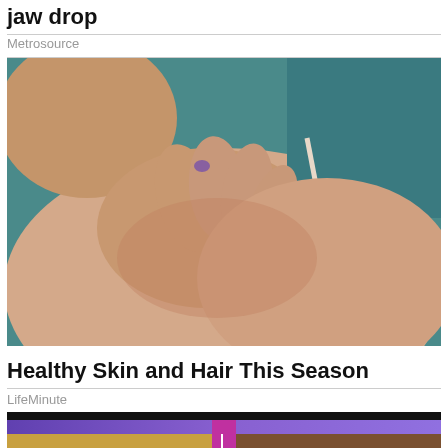jaw drop
Metrosource
[Figure (photo): Close-up photo of a woman's bare shoulder and neck, with her hand resting on her shoulder. She is wearing a thin strap. Background is teal/blue-green.]
Healthy Skin and Hair This Season
LifeMinute
[Figure (photo): Partial image of a hair comparison advertisement or video thumbnail showing two swatches of hair side by side — one lighter blonde on the left and one darker brown on the right — with a purple product label or banner across the middle top.]